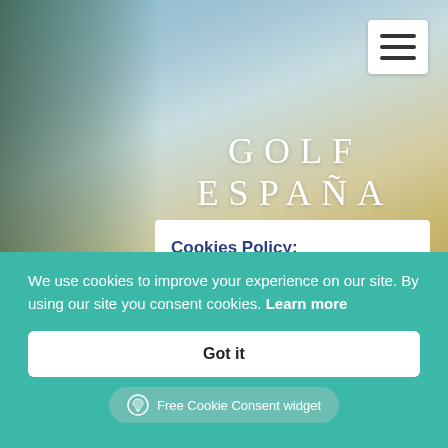[Figure (screenshot): Golf España website hero banner with teal/blue sky gradient background, palm tree on left, site logo reading GOLF ESPAÑA / GOLF HOLIDAYS IN SPAIN, and a hamburger menu button in top right corner]
Cookies Policy:
Cookies are codes installed in the browser that assist in providing the website service according to the purposes described below. Some of the purposes for which Cookies are installed may also require the user's consent.
We use cookies to improve your experience on our site. By using our site you consent cookies. Learn more
Got it
Free Cookie Consent widget